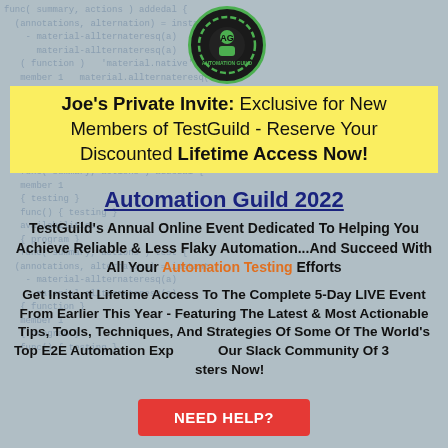[Figure (logo): Automation Guild circular logo with green border and robot/person icon on dark background]
Joe's Private Invite: Exclusive for New Members of TestGuild - Reserve Your Discounted Lifetime Access Now!
Automation Guild 2022
TestGuild's Annual Online Event Dedicated To Helping You Achieve Reliable & Less Flaky Automation...And Succeed With All Your Automation Testing Efforts
Get Instant Lifetime Access To The Complete 5-Day LIVE Event From Earlier This Year - Featuring The Latest & Most Actionable Tips, Tools, Techniques, And Strategies Of Some Of The World's Top E2E Automation Experts In Our Slack Community Of 30... ...sters Now!
NEED HELP?